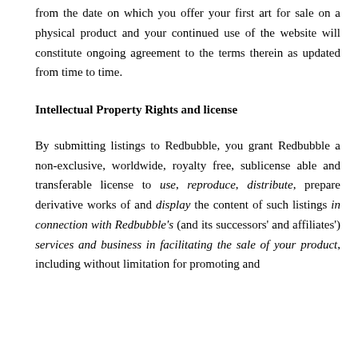from the date on which you offer your first art for sale on a physical product and your continued use of the website will constitute ongoing agreement to the terms therein as updated from time to time.
Intellectual Property Rights and license
By submitting listings to Redbubble, you grant Redbubble a non-exclusive, worldwide, royalty free, sublicense able and transferable license to use, reproduce, distribute, prepare derivative works of and display the content of such listings in connection with Redbubble's (and its successors' and affiliates') services and business in facilitating the sale of your product, including without limitation for promoting and